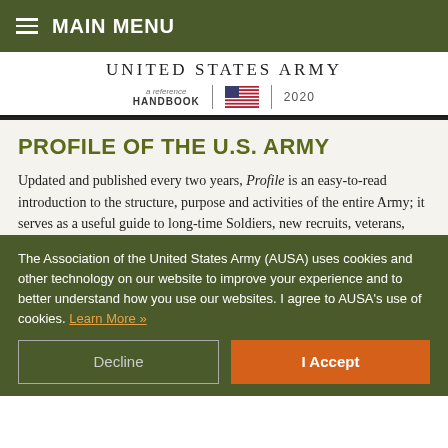MAIN MENU
[Figure (screenshot): United States Army a reference HANDBOOK 2020 book cover header with US flag]
PROFILE OF THE U.S. ARMY
Updated and published every two years, Profile is an easy-to-read introduction to the structure, purpose and activities of the entire Army; it serves as a useful guide to long-time Soldiers, new recruits, veterans,
The Association of the United States Army (AUSA) uses cookies and other technology on our website to improve your experience and to better understand how you use our websites. I agree to AUSA's use of cookies. Learn More »
Decline
I Accept